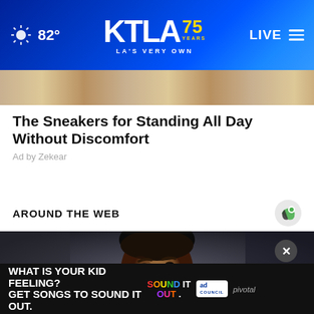KTLA 75 Years — LA's Very Own | 82° | LIVE
[Figure (photo): Partial view of sneaker product image in advertisement strip]
The Sneakers for Standing All Day Without Discomfort
Ad by Zekear
AROUND THE WEB
[Figure (photo): Close-up of a man's face in dim lighting, dark background]
[Figure (screenshot): Bottom advertisement banner: 'WHAT IS YOUR KID FEELING? GET SONGS TO SOUND IT OUT.' with Sound It Out and Ad Council logos]